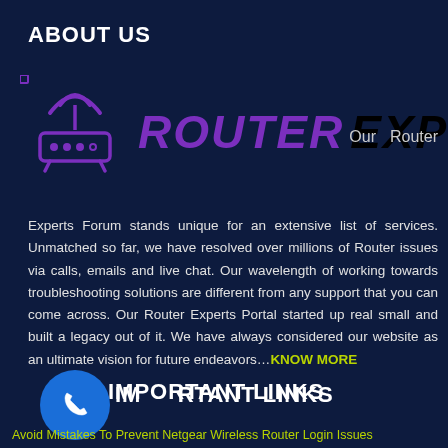ABOUT US
[Figure (logo): Router Experts logo with purple router icon and stylized text 'ROUTER EXPERTS']
Experts Forum stands unique for an extensive list of services. Unmatched so far, we have resolved over millions of Router issues via calls, emails and live chat. Our wavelength of working towards troubleshooting solutions are different from any support that you can come across. Our Router Experts Portal started up real small and built a legacy out of it. We have always considered our website as an ultimate vision for future endeavors…KNOW MORE
IMPORTANT LINKS
[Figure (illustration): Blue circular phone/call icon]
Avoid Mistakes To Prevent Netgear Wireless Router Login Issues